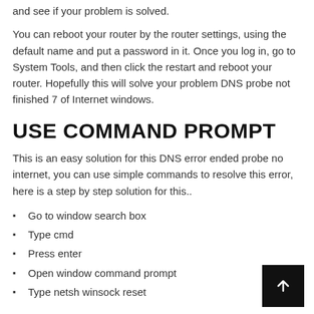and see if your problem is solved.
You can reboot your router by the router settings, using the default name and put a password in it. Once you log in, go to System Tools, and then click the restart and reboot your router. Hopefully this will solve your problem DNS probe not finished 7 of Internet windows.
USE COMMAND PROMPT
This is an easy solution for this DNS error ended probe no internet, you can use simple commands to resolve this error, here is a step by step solution for this..
Go to window search box
Type cmd
Press enter
Open window command prompt
Type netsh winsock reset